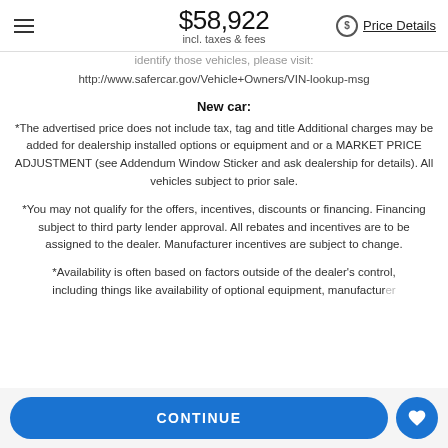$58,922 incl. taxes & fees  Price Details
identify those vehicles, please visit:
http://www.safercar.gov/Vehicle+Owners/VIN-lookup-msg
New car:
*The advertised price does not include tax, tag and title. Additional charges may be added for dealership installed options or equipment and or a MARKET PRICE ADJUSTMENT (see Addendum Window Sticker and ask dealership for details). All vehicles subject to prior sale.
*You may not qualify for the offers, incentives, discounts or financing. Financing subject to third party lender approval. All rebates and incentives are to be assigned to the dealer. Manufacturer incentives are subject to change.
*Availability is often based on factors outside of the dealer's control, including things like availability of optional equipment, manufacturer
CONTINUE